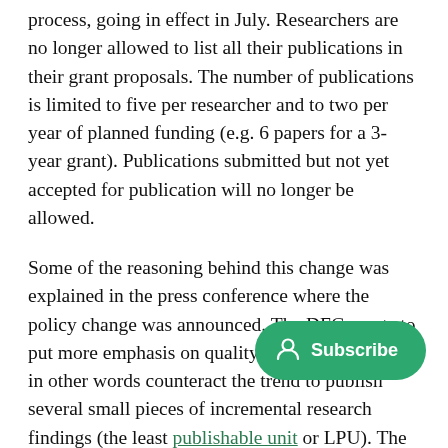process, going in effect in July. Researchers are no longer allowed to list all their publications in their grant proposals. The number of publications is limited to five per researcher and to two per year of planned funding (e.g. 6 papers for a 3-year grant). Publications submitted but not yet accepted for publication will no longer be allowed.
Some of the reasoning behind this change was explained in the press conference where the policy change was announced. The DFG wants to put more emphasis on quality instead of quantity, in other words counteract the trend to publish several small pieces of incremental research findings (the least publishable unit or LPU). The DFG thought this might also reduce the practice of "honorary coauthorship" with some researchers being
[Figure (other): Green Subscribe button with user/person icon overlay on the lower right of the page]